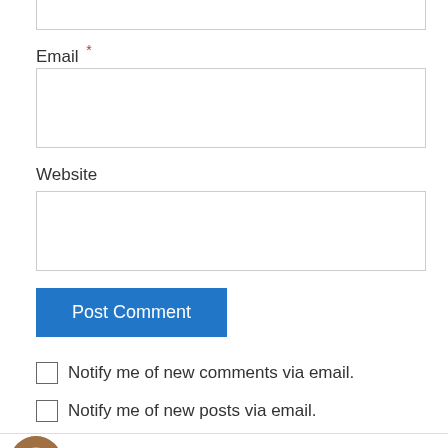Email *
Website
Post Comment
Notify me of new comments via email.
Notify me of new posts via email.
Anne Slater on April 8, 2011 at 6:54 am